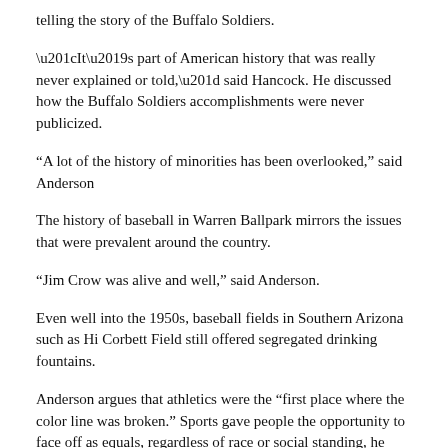telling the story of the Buffalo Soldiers.
“It’s part of American history that was really never explained or told,” said Hancock. He discussed how the Buffalo Soldiers accomplishments were never publicized.
“A lot of the history of minorities has been overlooked,” said Anderson
The history of baseball in Warren Ballpark mirrors the issues that were prevalent around the country.
“Jim Crow was alive and well,” said Anderson.
Even well into the 1950s, baseball fields in Southern Arizona such as Hi Corbett Field still offered segregated drinking fountains.
Anderson argues that athletics were the “first place where the color line was broken.” Sports gave people the opportunity to face off as equals, regardless of race or social standing, he said.